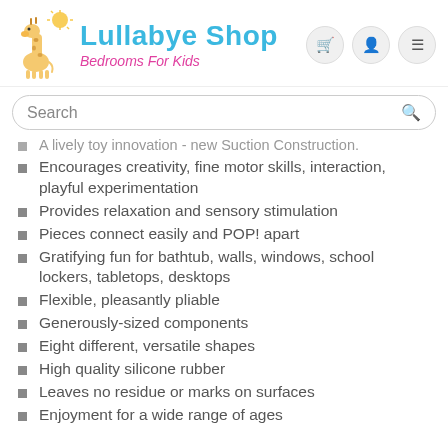Lullabye Shop — Bedrooms For Kids
A lively toy innovation - new Suction Construction.
Encourages creativity, fine motor skills, interaction, playful experimentation
Provides relaxation and sensory stimulation
Pieces connect easily and POP! apart
Gratifying fun for bathtub, walls, windows, school lockers, tabletops, desktops
Flexible, pleasantly pliable
Generously-sized components
Eight different, versatile shapes
High quality silicone rubber
Leaves no residue or marks on surfaces
Enjoyment for a wide range of ages